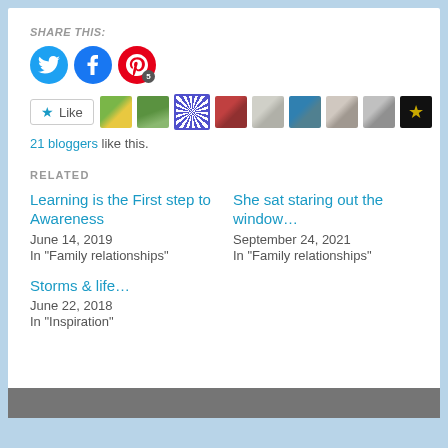SHARE THIS:
[Figure (infographic): Social share buttons: Twitter (blue circle), Facebook (blue circle), Pinterest (red circle with badge '5')]
[Figure (infographic): Like button with star icon, followed by a strip of 9 blogger avatar thumbnails]
21 bloggers like this.
RELATED
Learning is the First step to Awareness
June 14, 2019
In "Family relationships"
She sat staring out the window…
September 24, 2021
In "Family relationships"
Storms & life…
June 22, 2018
In "Inspiration"